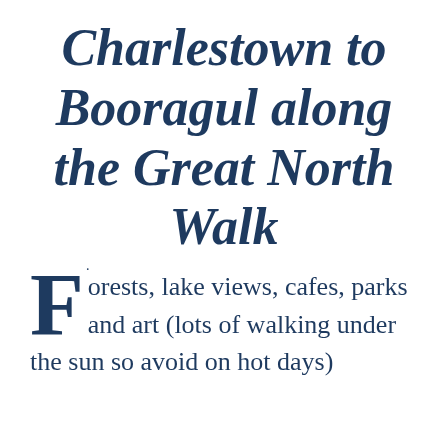Charlestown to Booragul along the Great North Walk
Forests, lake views, cafes, parks and art (lots of walking under the sun so avoid on hot days)